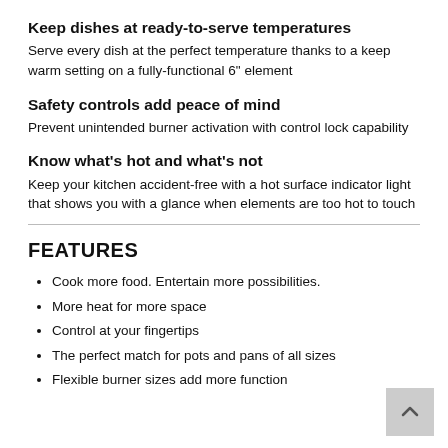Keep dishes at ready-to-serve temperatures
Serve every dish at the perfect temperature thanks to a keep warm setting on a fully-functional 6" element
Safety controls add peace of mind
Prevent unintended burner activation with control lock capability
Know what's hot and what's not
Keep your kitchen accident-free with a hot surface indicator light that shows you with a glance when elements are too hot to touch
FEATURES
Cook more food. Entertain more possibilities.
More heat for more space
Control at your fingertips
The perfect match for pots and pans of all sizes
Flexible burner sizes add more function